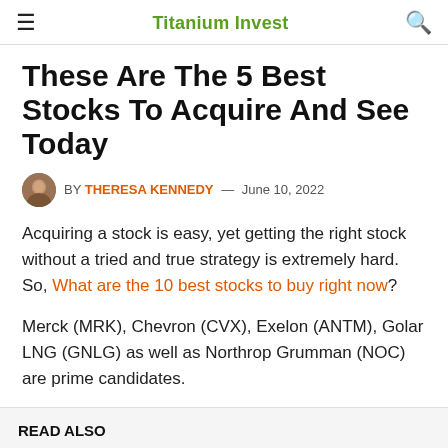Titanium Invest
These Are The 5 Best Stocks To Acquire And See Today
BY THERESA KENNEDY — June 10, 2022
Acquiring a stock is easy, yet getting the right stock without a tried and true strategy is extremely hard. So, What are the 10 best stocks to buy right now?
Merck (MRK), Chevron (CVX), Exelon (ANTM), Golar LNG (GNLG) as well as Northrop Grumman (NOC) are prime candidates.
READ ALSO